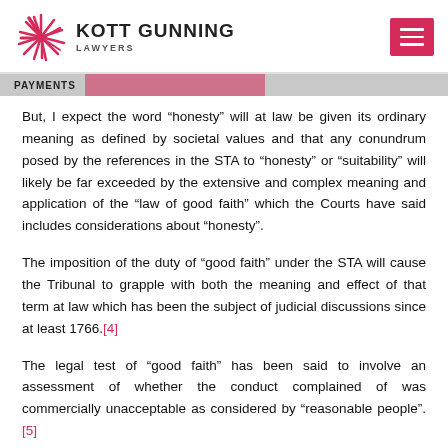KOTT GUNNING LAWYERS
But, I expect the word “honesty” will at law be given its ordinary meaning as defined by societal values and that any conundrum posed by the references in the STA to “honesty” or “suitability” will likely be far exceeded by the extensive and complex meaning and application of the “law of good faith” which the Courts have said includes considerations about “honesty”.
The imposition of the duty of “good faith” under the STA will cause the Tribunal to grapple with both the meaning and effect of that term at law which has been the subject of judicial discussions since at least 1766.[4]
The legal test of “good faith” has been said to involve an assessment of whether the conduct complained of was commercially unacceptable as considered by “reasonable people”.[5]
Good faith has been variously described as including the